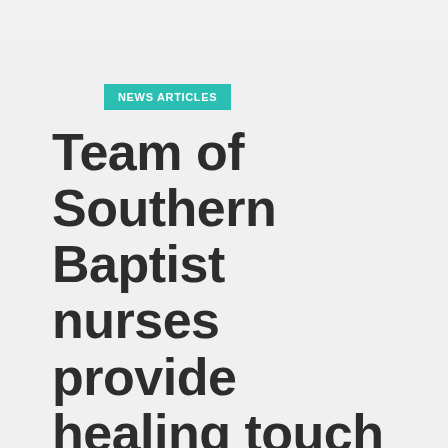NEWS ARTICLES
Team of Southern Baptist nurses provide healing touch in Bosnia
By Tanya Dawson*, posted September 16, 1999 in
METADATA: